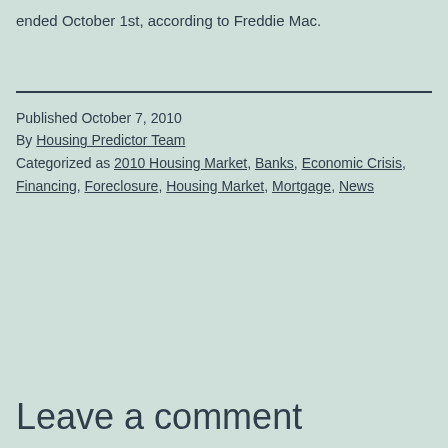ended October 1st, according to Freddie Mac.
Published October 7, 2010
By Housing Predictor Team
Categorized as 2010 Housing Market, Banks, Economic Crisis, Financing, Foreclosure, Housing Market, Mortgage, News
Leave a comment